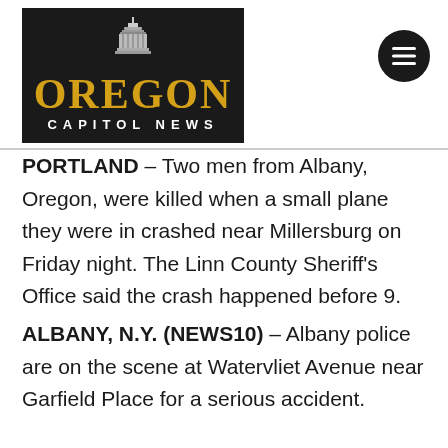[Figure (logo): Oregon Capitol News logo with capitol building illustration above, black background, OREGON in gold serif letters, CAPITOL NEWS in white spaced letters below]
PORTLAND – Two men from Albany, Oregon, were killed when a small plane they were in crashed near Millersburg on Friday night. The Linn County Sheriff's Office said the crash happened before 9.
ALBANY, N.Y. (NEWS10) – Albany police are on the scene at Watervliet Avenue near Garfield Place for a serious accident.